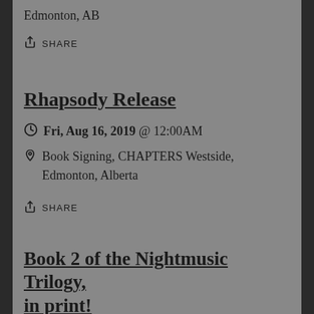Edmonton, AB
SHARE
Rhapsody Release
Fri, Aug 16, 2019 @ 12:00AM
Book Signing, CHAPTERS Westside, Edmonton, Alberta
SHARE
Book 2 of the Nightmusic Trilogy, in print!